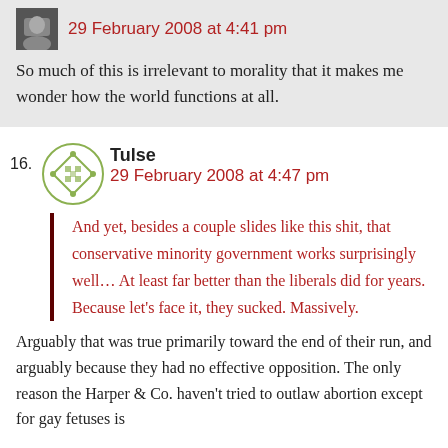29 February 2008 at 4:41 pm
So much of this is irrelevant to morality that it makes me wonder how the world functions at all.
16. Tulse
29 February 2008 at 4:47 pm
And yet, besides a couple slides like this shit, that conservative minority government works surprisingly well… At least far better than the liberals did for years. Because let's face it, they sucked. Massively.
Arguably that was true primarily toward the end of their run, and arguably because they had no effective opposition. The only reason the Harper & Co. haven't tried to outlaw abortion except for gay fetuses is